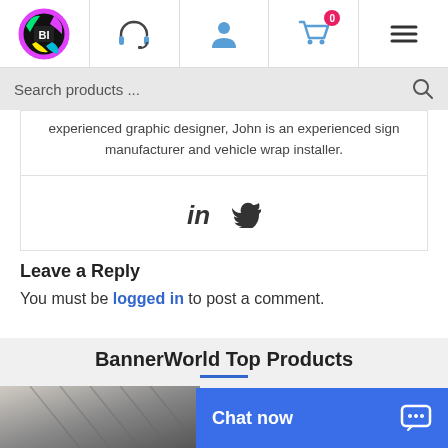BannerWorld navigation bar with logo, support, account, cart (0 items), menu icons
Search products ...
experienced graphic designer, John is an experienced sign manufacturer and vehicle wrap installer.
[Figure (other): LinkedIn and Twitter social media icons]
Leave a Reply
You must be logged in to post a comment.
BannerWorld Top Products
[Figure (photo): Product image preview at bottom left]
Chat now